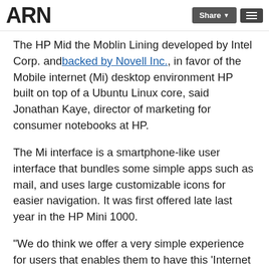ARN | Share
The HP Mi... d the Moblin Lin...ing developed by Intel Corp. and backed by Novell Inc., in favor of the Mobile internet (Mi) desktop environment HP built on top of a Ubuntu Linux core, said Jonathan Kaye, director of marketing for consumer notebooks at HP.
The Mi interface is a smartphone-like user interface that bundles some simple apps such as mail, and uses large customizable icons for easier navigation. It was first offered late last year in the HP Mini 1000.
"We do think we offer a very simple experience for users that enables them to have this 'Internet snacking,'" Kaye said.
Those are similar benefits as touted by supporters of the Android OS that is emerging on smartphones today and is expected to debut in a number of netbooks in the second